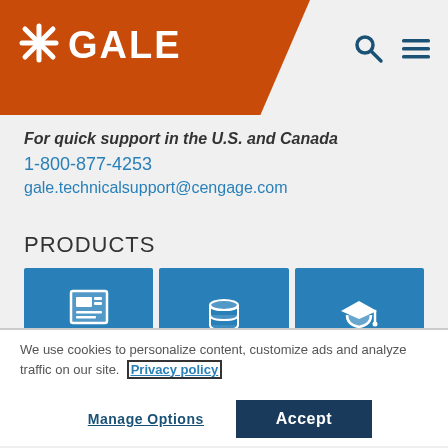[Figure (logo): GALE logo with orange angled banner header and navigation icons]
For quick support in the U.S. and Canada
1-800-877-4253
gale.technicalsupport@cengage.com
PRODUCTS
[Figure (infographic): Three product tiles: Primary Sources (newspaper icon), Databases (database stack icon), eLearning (graduation cap icon)]
We use cookies to personalize content, customize ads and analyze traffic on our site. Privacy policy
Manage Options
Accept